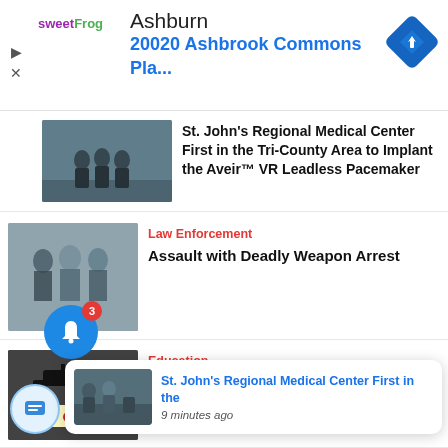[Figure (screenshot): Ad banner for sweetFrog showing 'Ashburn' and '20020 Ashbrook Commons Pla...' with navigation diamond icon]
St. John's Regional Medical Center First in the Tri-County Area to Implant the Aveir™ VR Leadless Pacemaker
Law Enforcement
Assault with Deadly Weapon Arrest
Education
Cal State's Black students are falling
[Figure (screenshot): Notification popup: St. John's Regional Medical Center First in the — 9 minutes ago]